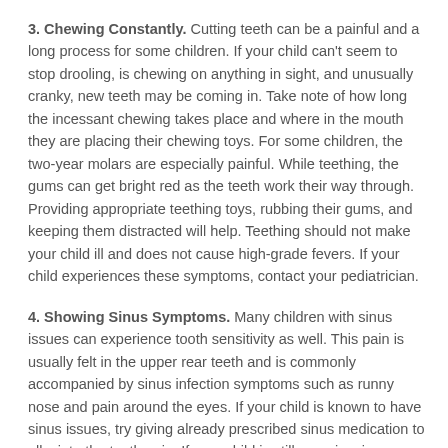3. Chewing Constantly. Cutting teeth can be a painful and a long process for some children. If your child can't seem to stop drooling, is chewing on anything in sight, and unusually cranky, new teeth may be coming in. Take note of how long the incessant chewing takes place and where in the mouth they are placing their chewing toys. For some children, the two-year molars are especially painful. While teething, the gums can get bright red as the teeth work their way through. Providing appropriate teething toys, rubbing their gums, and keeping them distracted will help. Teething should not make your child ill and does not cause high-grade fevers. If your child experiences these symptoms, contact your pediatrician.
4. Showing Sinus Symptoms. Many children with sinus issues can experience tooth sensitivity as well. This pain is usually felt in the upper rear teeth and is commonly accompanied by sinus infection symptoms such as runny nose and pain around the eyes. If your child is known to have sinus issues, try giving already prescribed sinus medication to alleviate the tooth pain. If your child is still experiencing sensitivity when chewing or drinking, or swelling around their jawline, it may be a cavity or tooth